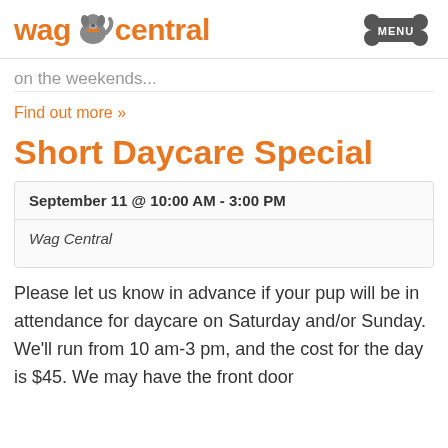[Figure (logo): Wag Central logo with orange text and grey dog icon, plus a grey bone-shaped MENU button]
on the weekends...
Find out more »
Short Daycare Special
| September 11 @ 10:00 AM - 3:00 PM |
| Wag Central |
Please let us know in advance if your pup will be in attendance for daycare on Saturday and/or Sunday. We'll run from 10 am-3 pm, and the cost for the day is $45. We may have the front door